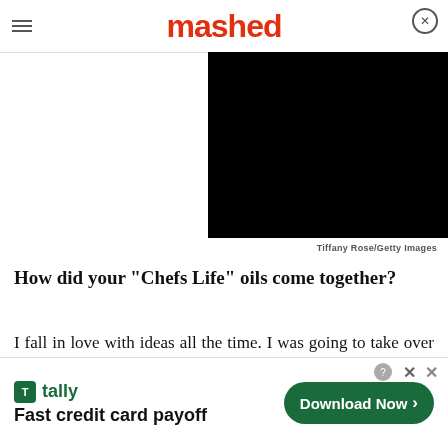mashed
[Figure (other): Black video player area on the right side of the page]
Tiffany Rose/Getty Images
How did your "Chefs Life" oils come together?
I fall in love with ideas all the time. I was going to take over the world with bone broth three years ago. Then, I realized how horrible the beef industr…
[Figure (other): Bottom advertisement banner for Tally app — Fast credit card payoff — with Download Now button]